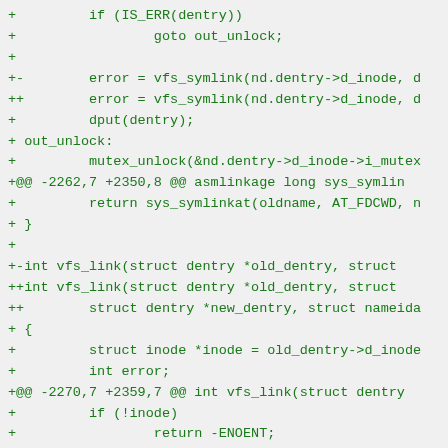+         if (IS_ERR(dentry))
+                 goto out_unlock;
+
+-        error = vfs_symlink(nd.dentry->d_inode, d
++        error = vfs_symlink(nd.dentry->d_inode, d
+         dput(dentry);
+ out_unlock:
+         mutex_unlock(&nd.dentry->d_inode->i_mutex
+@@ -2262,7 +2350,8 @@ asmlinkage long sys_symlin
+         return sys_symlinkat(oldname, AT_FDCWD, n
+ }
+
+-int vfs_link(struct dentry *old_dentry, struct
+++int vfs_link(struct dentry *old_dentry, struct
+++        struct dentry *new_dentry, struct nameida
+ {
+         struct inode *inode = old_dentry->d_inode
+         int error;
++@@ -2270,7 +2359,7 @@ int vfs_link(struct dentry
+         if (!inode)
+                 return -ENOENT;
+